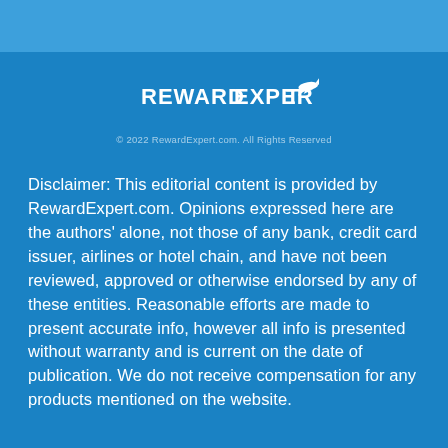[Figure (logo): RewardExpert logo with airplane icon — white text on blue background]
© 2022 RewardExpert.com. All Rights Reserved
Disclaimer: This editorial content is provided by RewardExpert.com. Opinions expressed here are the authors' alone, not those of any bank, credit card issuer, airlines or hotel chain, and have not been reviewed, approved or otherwise endorsed by any of these entities. Reasonable efforts are made to present accurate info, however all info is presented without warranty and is current on the date of publication. We do not receive compensation for any products mentioned on the website.